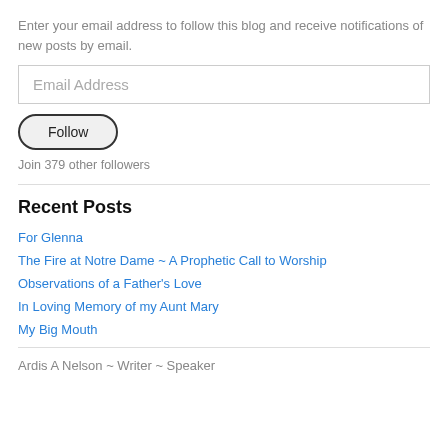Enter your email address to follow this blog and receive notifications of new posts by email.
Email Address
Follow
Join 379 other followers
Recent Posts
For Glenna
The Fire at Notre Dame ~ A Prophetic Call to Worship
Observations of a Father's Love
In Loving Memory of my Aunt Mary
My Big Mouth
Ardis A Nelson ~ Writer ~ Speaker